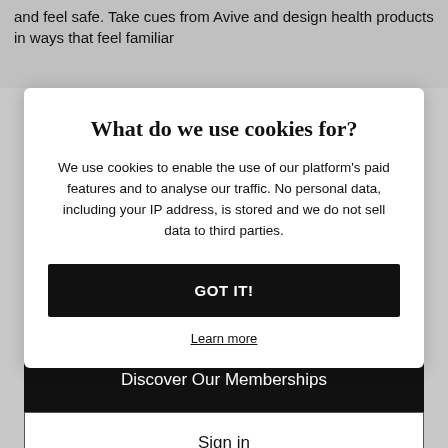and feel safe. Take cues from Avive and design health products in ways that feel familiar
What do we use cookies for?
We use cookies to enable the use of our platform's paid features and to analyse our traffic. No personal data, including your IP address, is stored and we do not sell data to third parties.
GOT IT!
Learn more
Discover Our Memberships
Sign in